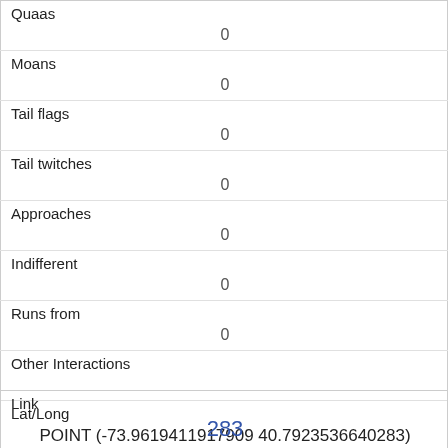| Quaas | 0 |
| Moans | 0 |
| Tail flags | 0 |
| Tail twitches | 0 |
| Approaches | 0 |
| Indifferent | 0 |
| Runs from | 0 |
| Other Interactions |  |
| Lat/Long | POINT (-73.9619411917909 40.7923536640283) |
| Link | 283 |